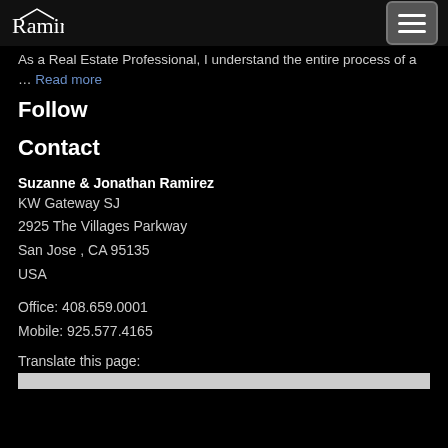Ramirez (logo) — navigation menu button
As a Real Estate Professional, I understand the entire process of a … Read more
Follow
Contact
Suzanne & Jonathan Ramirez
KW Gateway SJ
2925 The Villages Parkway
San Jose , CA 95135
USA
Office: 408.659.0001
Mobile: 925.577.4165
Translate this page: